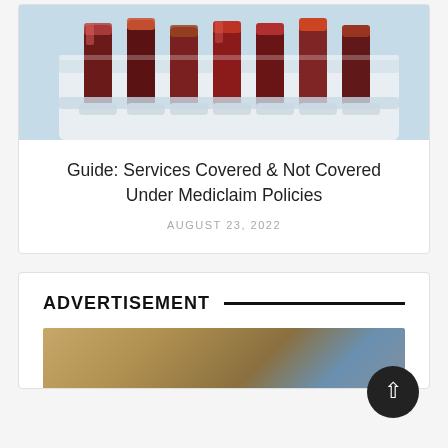[Figure (photo): A rack of blood sample test tubes in a laboratory setting, with dark red and maroon colored tubes in a white plastic holder, photographed from above at a slight angle.]
Guide: Services Covered & Not Covered Under Mediclaim Policies
AUGUST 23, 2022
ADVERTISEMENT